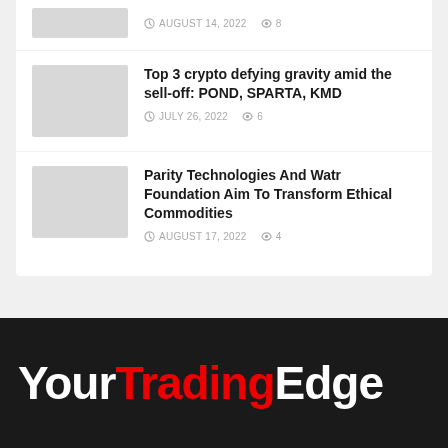AUGUST 14, 2022  8
Top 3 crypto defying gravity amid the sell-off: POND, SPARTA, KMD
JULY 26, 2022  6
Parity Technologies And Watr Foundation Aim To Transform Ethical Commodities
AUGUST 17, 2022  4
YourTradingEdge